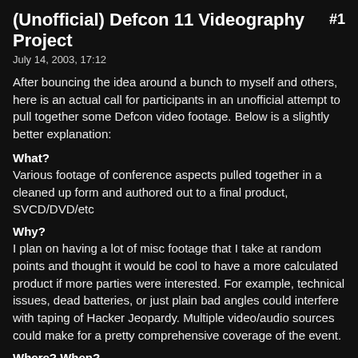(Unofficial) Defcon 11 Videography Project
July 14, 2003, 17:12
After bouncing the idea around a bunch to myself and others, here is an actual call for participants in an unofficial attempt to pull together some Defcon video footage. Below is a slightly better explanation:
What?
Various footage of conference aspects pulled together in a cleaned up form and authored out to a final product, SVCD/DVD/etc
Why?
I plan on having a lot of misc footage that I take at random points and thought it would be cool to have a more calculated product if more parties were interested. For example, technical issues, dead batteries, or just plain bad angles could interfere with taping of Hacker Jeopardy. Multiple video/audio sources could make for a pretty comprehensive coverage of the event.
Where? When?
Defcon, duh. Well, actually any footage pertaining to the conference; be it Hacker Jeopardy, various talks, consentual interviews, events you or a friend may be participating in, or just a group of folk heading over to the corner store or hard rock. NOT LOOKING FOR CROWD PANNING AND UNCONSENTED FOOTAGE. Such footage will be excluded from the final product and will likely get you beat up by various people at the conference.
Who?